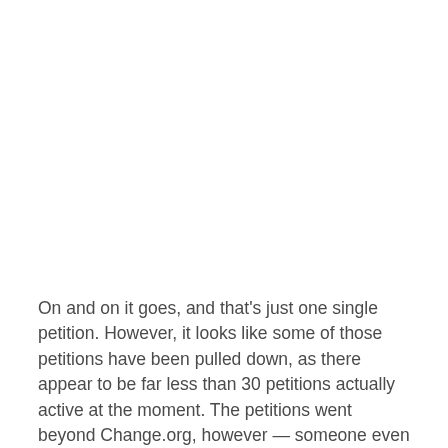On and on it goes, and that's just one single petition. However, it looks like some of those petitions have been pulled down, as there appear to be far less than 30 petitions actually active at the moment. The petitions went beyond Change.org, however — someone even submitted a petition to